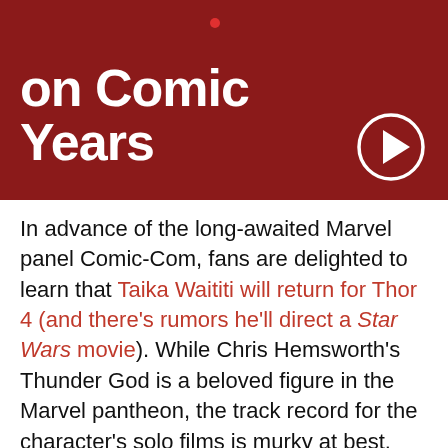[Figure (other): Dark red banner with white bold text reading 'on Comic Years' (partially visible) and a circular play button icon in the bottom right]
In advance of the long-awaited Marvel panel Comic-Com, fans are delighted to learn that Taika Waititi will return for Thor 4 (and there's rumors he'll direct a Star Wars movie). While Chris Hemsworth's Thunder God is a beloved figure in the Marvel pantheon, the track record for the character's solo films is murky at best. However, the first Thor film written and directed by Waititi, Thor: Ragnarok, served as something of a franchise reboot. Rather than the dark, Shakespearean tone of the first two Thor films,